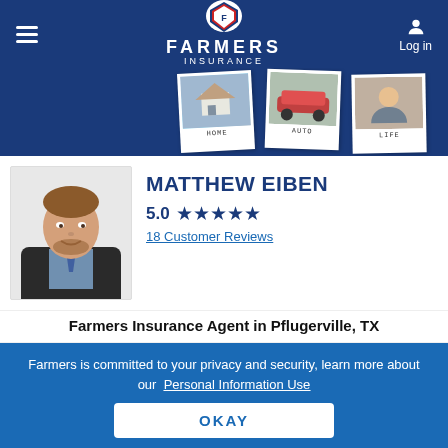Farmers Insurance — Log in
[Figure (screenshot): Farmers Insurance mobile website header with hamburger menu, Farmers Insurance logo centered, and Log in icon on the right, on a dark blue background]
[Figure (photo): Three polaroid-style photos showing HOME, AUTO, and LIFE insurance categories on a blue banner background]
[Figure (photo): Professional headshot of Matthew Eiben, a male insurance agent wearing a dark suit and blue shirt]
MATTHEW EIBEN
5.0 ★★★★★
18 Customer Reviews
Farmers Insurance Agent in Pflugerville, TX
GET A QUOTE
CALL ME
Farmers is committed to your privacy and security, learn more about our Personal Information Use
OKAY